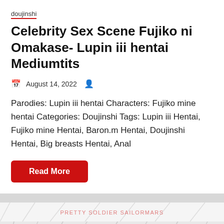doujinshi
Celebrity Sex Scene Fujiko ni Omakase- Lupin iii hentai Mediumtits
August 14, 2022
Parodies: Lupin iii hentai Characters: Fujiko mine hentai Categories: Doujinshi Tags: Lupin iii Hentai, Fujiko mine Hentai, Baron.m Hentai, Doujinshi Hentai, Big breasts Hentai, Anal
[Figure (illustration): Anime illustration showing a character from Pretty Soldier Sailormars lying on a bed, with text 'PRETTY SOLDIER SAILORMARS' visible at the top of the image.]